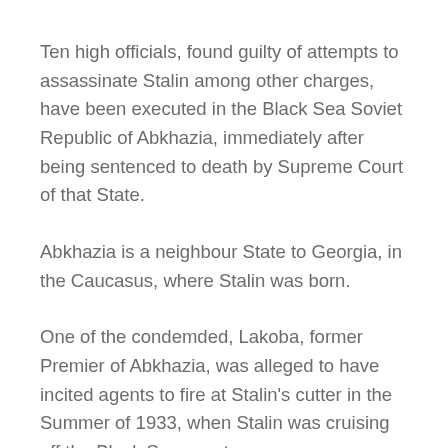Ten high officials, found guilty of attempts to assassinate Stalin among other charges, have been executed in the Black Sea Soviet Republic of Abkhazia, immediately after being sentenced to death by Supreme Court of that State.
Abkhazia is a neighbour State to Georgia, in the Caucasus, where Stalin was born.
One of the condemded, Lakoba, former Premier of Abkhazia, was alleged to have incited agents to fire at Stalin's cutter in the Summer of 1933, when Stalin was cruising off the Black Sea coast.
The accused were further charged with espionage and